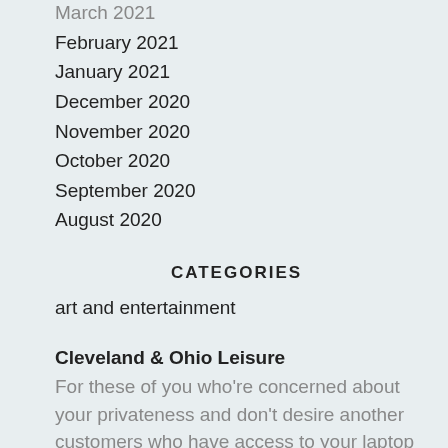March 2021
February 2021
January 2021
December 2020
November 2020
October 2020
September 2020
August 2020
CATEGORIES
art and entertainment
Cleveland & Ohio Leisure
For these of you who're concerned about your privateness and don't desire another customers who have access to your laptop to know what [...]